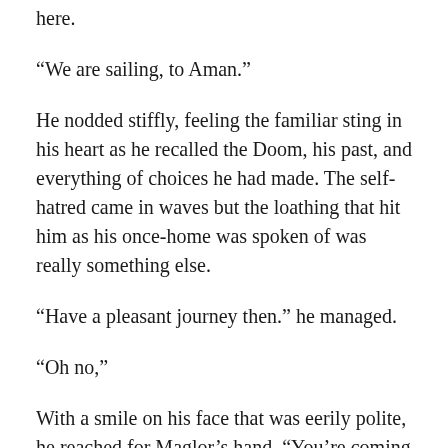here.
“We are sailing, to Aman.”
He nodded stiffly, feeling the familiar sting in his heart as he recalled the Doom, his past, and everything of choices he had made. The self-hatred came in waves but the loathing that hit him as his once-home was spoken of was really something else.
“Have a pleasant journey then.” he managed.
“Oh no,”
With a smile on his face that was eerily polite, he reached for Maglor’s hand, “You’re coming with us.”
“No, I’m not?”